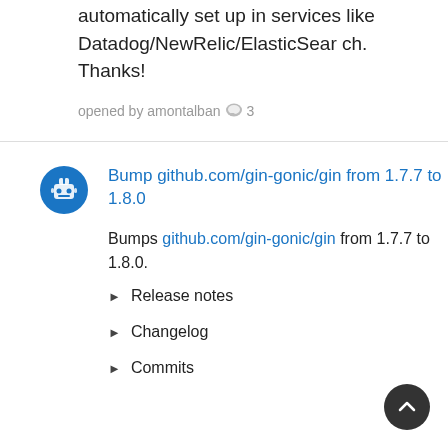automatically set up in services like Datadog/NewRelic/ElasticSearch.
Thanks!
opened by amontalban 💬 3
Bump github.com/gin-gonic/gin from 1.7.7 to 1.8.0
Bumps github.com/gin-gonic/gin from 1.7.7 to 1.8.0.
Release notes
Changelog
Commits